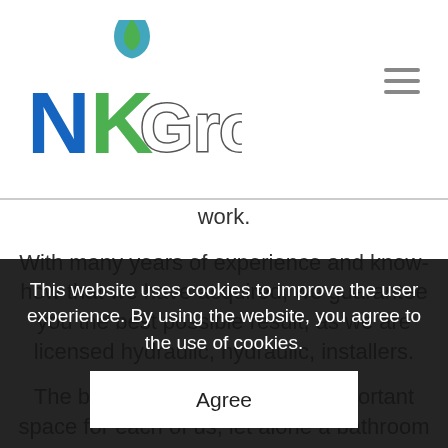[Figure (logo): NK Group logo with blue N, green K, and stylized 'Group' text with a blue/green flame drop icon above]
work.
With many years of experience and know-how that we have acquired, we guarantee you the best possible result, as we are licensed hydraulic, hydraulic, installers.

The bathroom is definitely an important space for each of us, let alone a bathroom that becomes new again and one of our mood.

The bathroom should be designed to facilitate use and have a variety of elements.
This website uses cookies to improve the user experience. By using the website, you agree to the use of cookies.